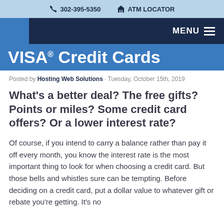302-395-5350   ATM LOCATOR
MENU
VISA® Credit Cards
Posted by Hosting Web Solutions · Tuesday, October 15th, 2019
What's a better deal? The free gifts? Points or miles? Some credit card offers? Or a lower interest rate?
Of course, if you intend to carry a balance rather than pay it off every month, you know the interest rate is the most important thing to look for when choosing a credit card. But those bells and whistles sure can be tempting. Before deciding on a credit card, put a dollar value to whatever gift or rebate you're getting. It's no